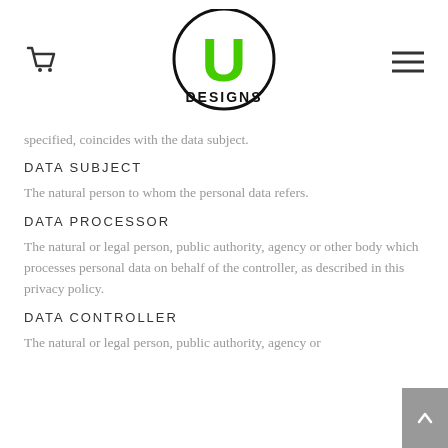[Figure (logo): U Designs logo — green U-shaped letter inside a black circle with 'DESIGNS' text below]
specified, coincides with the data subject.
DATA SUBJECT
The natural person to whom the personal data refers.
DATA PROCESSOR
The natural or legal person, public authority, agency or other body which processes personal data on behalf of the controller, as described in this privacy policy.
DATA CONTROLLER
The natural or legal person, public authority, agency or